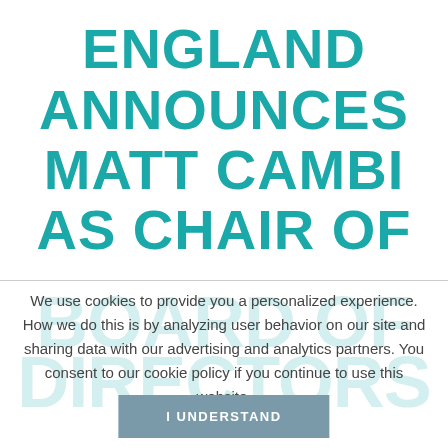ENGLAND ANNOUNCES MATT CAMBI AS CHAIR OF
BOARD OF DIRECTORS
We use cookies to provide you a personalized experience. How we do this is by analyzing user behavior on our site and sharing data with our advertising and analytics partners. You consent to our cookie policy if you continue to use this website.
I UNDERSTAND